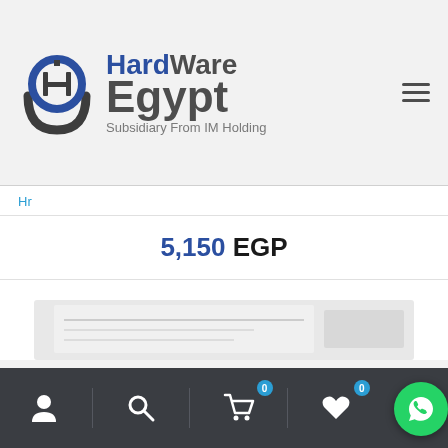[Figure (logo): HardWare Egypt logo with circular HW emblem and text 'HardWare Egypt - Subsidiary From IM Holding']
Hr
5,150 EGP
[Figure (photo): Partial product image visible at bottom of content area]
[Figure (infographic): Bottom navigation bar with user icon, search icon, cart icon (badge 0), wishlist icon (badge 0), and WhatsApp button]